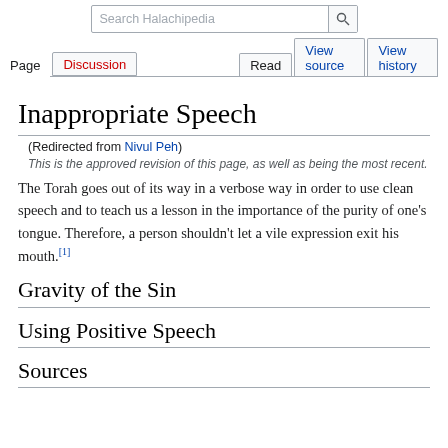Search Halachipedia | Page | Discussion | Read | View source | View history
Inappropriate Speech
(Redirected from Nivul Peh)
This is the approved revision of this page, as well as being the most recent.
The Torah goes out of its way in a verbose way in order to use clean speech and to teach us a lesson in the importance of the purity of one's tongue. Therefore, a person shouldn't let a vile expression exit his mouth.[1]
Gravity of the Sin
Using Positive Speech
Sources